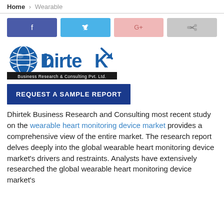Home > Wearable
[Figure (logo): Social sharing buttons: Facebook (blue), Twitter (light blue), Google+ (pink), Share (grey)]
[Figure (logo): Dhirtek Business Research & Consulting Pvt. Ltd. logo]
REQUEST A SAMPLE REPORT
Dhirtek Business Research and Consulting most recent study on the wearable heart monitoring device market provides a comprehensive view of the entire market. The research report delves deeply into the global wearable heart monitoring device market's drivers and restraints. Analysts have extensively researched the global wearable heart monitoring device market's